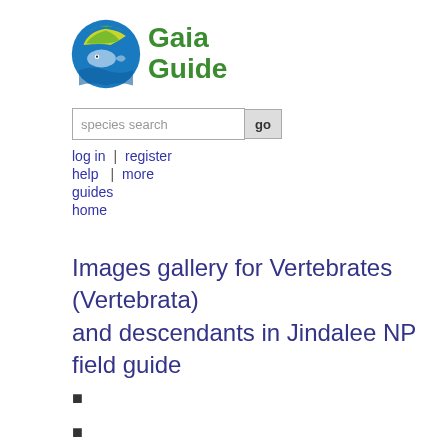[Figure (logo): Gaia Guide logo: circular icon with green, yellow, blue colors and a fish/bird motif, next to the text 'Gaia Guide' in green]
species search  go
log in  |  register
help  |  more
guides
home
Images gallery for Vertebrates (Vertebrata) and descendants in Jindalee NP field guide